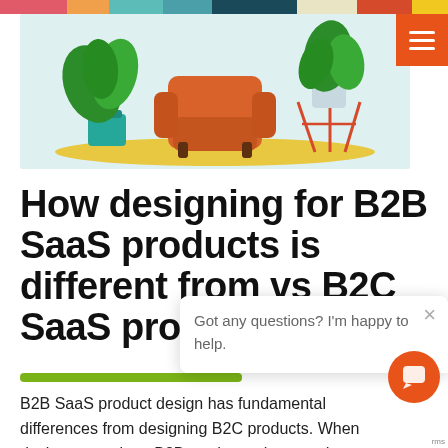[Figure (illustration): Hero illustration of a living room with an orange armchair, two green potted plants, on a yellow rug, with a light blue/teal background]
How designing for B2B SaaS products is different from vs B2C SaaS products
[Figure (screenshot): Chat popup widget showing 'Got any questions? I'm happy to help.' with a close (x) button and an orange chat launcher button]
B2B SaaS product design has fundamental differences from designing B2C products. When designers work on B2B products, they need to approach key areas differently. Why? Because of the